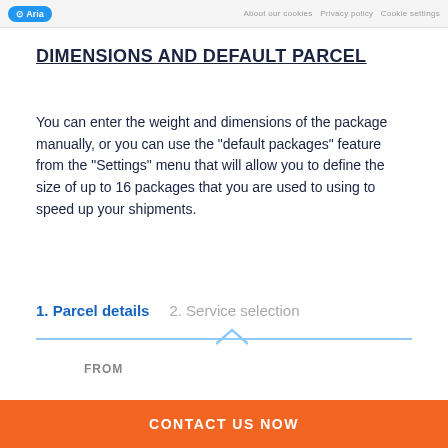Aria | header links
DIMENSIONS AND DEFAULT PARCEL
You can enter the weight and dimensions of the package manually, or you can use the "default packages" feature from the "Settings" menu that will allow you to define the size of up to 16 packages that you are used to using to speed up your shipments.
1. Parcel details   2. Service selection
FROM
CONTACT US NOW